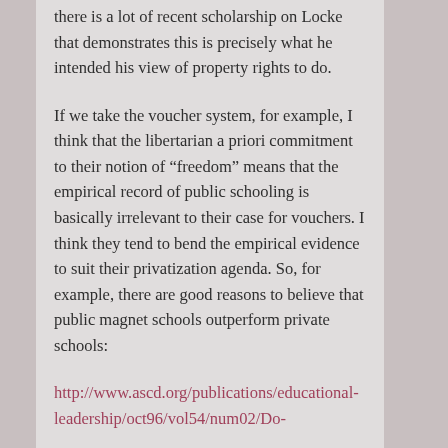there is a lot of recent scholarship on Locke that demonstrates this is precisely what he intended his view of property rights to do.
If we take the voucher system, for example, I think that the libertarian a priori commitment to their notion of “freedom” means that the empirical record of public schooling is basically irrelevant to their case for vouchers. I think they tend to bend the empirical evidence to suit their privatization agenda. So, for example, there are good reasons to believe that public magnet schools outperform private schools:
http://www.ascd.org/publications/educational-leadership/oct96/vol54/num02/Do-